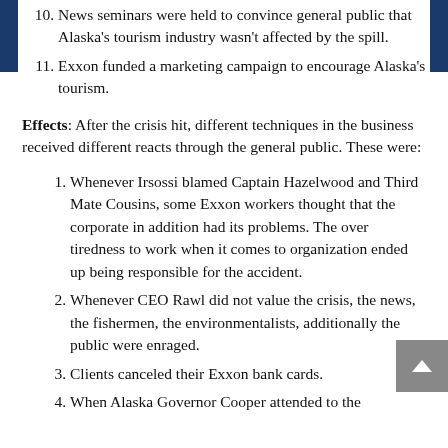10. News seminars were held to convince general public that Alaska's tourism industry wasn't affected by the spill.
11. Exxon funded a marketing campaign to encourage Alaska's tourism.
Effects: After the crisis hit, different techniques in the business received different reacts through the general public. These were:
1. Whenever Irsossi blamed Captain Hazelwood and Third Mate Cousins, some Exxon workers thought that the corporate in addition had its problems. The over tiredness to work when it comes to organization ended up being responsible for the accident.
2. Whenever CEO Rawl did not value the crisis, the news, the fishermen, the environmentalists, additionally the public were enraged.
3. Clients canceled their Exxon bank cards.
4. When Alaska Governor Cooper attended to the